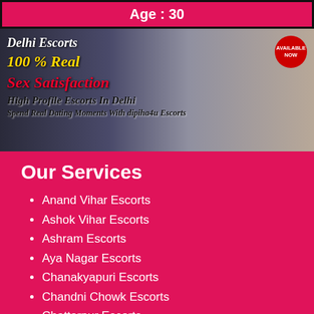Age : 30
[Figure (photo): Promotional banner for Delhi Escorts service with a woman in the background. Text overlays: 'Delhi Escorts', '100 % Real', 'Sex Satisfaction', 'High Profile Escorts In Delhi', 'Spend Real Dating Moments With dipiha4u Escorts'. Red circular badge reading 'AVAILABLE NOW' in top right.]
Our Services
Anand Vihar Escorts
Ashok Vihar Escorts
Ashram Escorts
Aya Nagar Escorts
Chanakyapuri Escorts
Chandni Chowk Escorts
Chattarpur Escorts
Connaught Place Escorts
CP Escorts